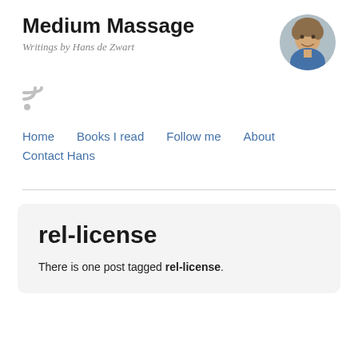Medium Massage
Writings by Hans de Zwart
[Figure (other): RSS feed icon in light gray]
[Figure (photo): Circular avatar photo of Hans de Zwart, a man with short hair, smiling]
Home
Books I read
Follow me
About
Contact Hans
rel-license
There is one post tagged rel-license.